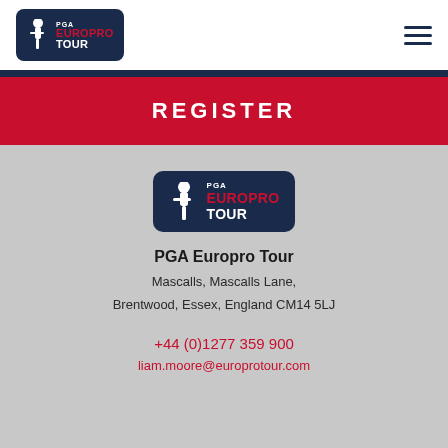[Figure (logo): PGA EuroPro Tour logo in top-left navigation header, white golfer silhouette on dark navy background with red EUROPRO text]
REGISTER
[Figure (logo): PGA EuroPro Tour logo centered in footer area, white golfer silhouette on dark navy background with red EUROPRO text]
PGA Europro Tour
Mascalls, Mascalls Lane,
Brentwood, Essex, England CM14 5LJ
+44 (0)1277 359 900
liam.moore@europrotour.com